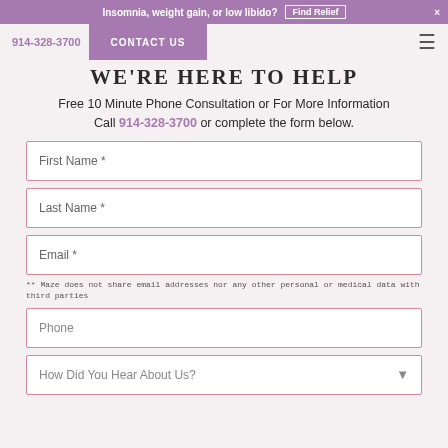Insomnia, weight gain, or low libido? Find Relief ×
914-328-3700  CONTACT US
WE'RE HERE TO HELP
Free 10 Minute Phone Consultation or For More Information
Call 914-328-3700 or complete the form below.
First Name *
Last Name *
Email *
** Maze does not share email addresses nor any other personal or medical data with third parties
Phone
How Did You Hear About Us?